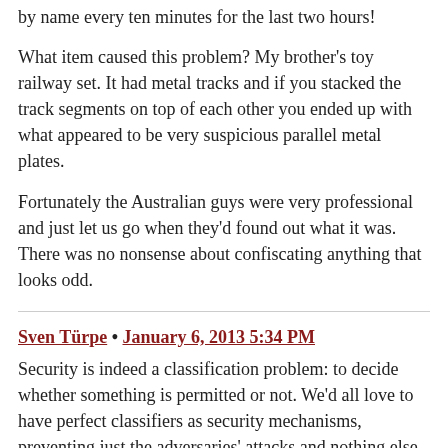by name every ten minutes for the last two hours!
What item caused this problem? My brother's toy railway set. It had metal tracks and if you stacked the track segments on top of each other you ended up with what appeared to be very suspicious parallel metal plates.
Fortunately the Australian guys were very professional and just let us go when they'd found out what it was. There was no nonsense about confiscating anything that looks odd.
Sven Türpe • January 6, 2013 5:34 PM
Security is indeed a classification problem: to decide whether something is permitted or not. We'd all love to have perfect classifiers as security mechanisms, preventing just the adversaries' attacks and nothing else. But to create such perfect classifiers is not only difficult, it is impossible due to our incomplete understanding of the features distinguishing adversarial from legitimate action – if there is an objective distinction at all. Even if we could theoretically create perfect security mechanisms, doing so would be hard and thus, costly. We will therefore experience difficult approximations like...